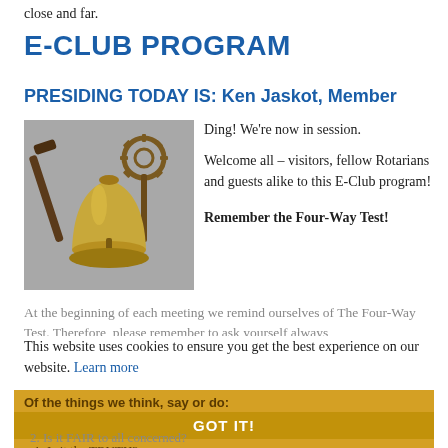close and far.
E-CLUB PROGRAM
PRESIDING TODAY IS: Ken Jaskot, Member
[Figure (photo): A golden Rotary bell with a gavel/mallet and a Rotary International gear wheel emblem on a grey background.]
Ding! We’re now in session.

Welcome all – visitors, fellow Rotarians and guests alike to this E-Club program!

Remember the Four-Way Test!
At the beginning of each meeting we remind ourselves of The Four-Way Test. Therefore, please remember to ask yourself always
This website uses cookies to ensure you get the best experience on our website. Learn more
Of the things we think, say or do:
GOT IT!
1. Is it the TRUTH?
2. Is it FAIR to all concerned?